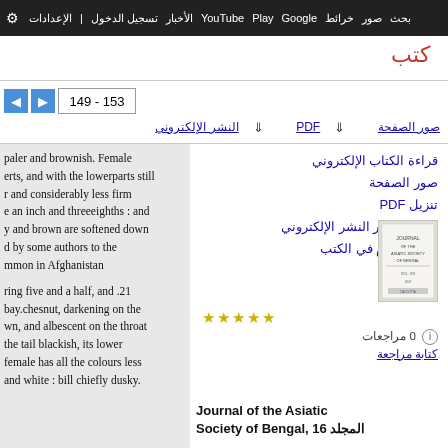بحث صور خرائط Google Play YouTube الأخبار تسجيل الدخول الإعدادات
كتب
149 - 153
صور الصفحة  PDF ↓  النشر الإلكتروني ↓
paler and brownish. Female erts, and with the lowerparts still r and considerably less firm e an inch and threeeighths : and y and brown are softened down d by some authors to the mmon in Afghanistan

ring five and a half, and .21 bay.chesnut, darkening on the wn, and albescent on the throat the tail blackish, its lower female has all the colours less and white : bill chiefly dusky.
قراءة الكتاب الإلكتروني
صور الصفحة
تنزيل PDF
تنزيل إصدار النشر الإلكتروني
بحث متقدم في الكتب
مساعدة
مكتبتي
0 مراجعات
كتابة مراجعة
[Figure (photo): Book cover thumbnail for Journal of the Asiatic Society of Bengal]
Journal of the Asiatic Society of Bengal, 16 المجلد